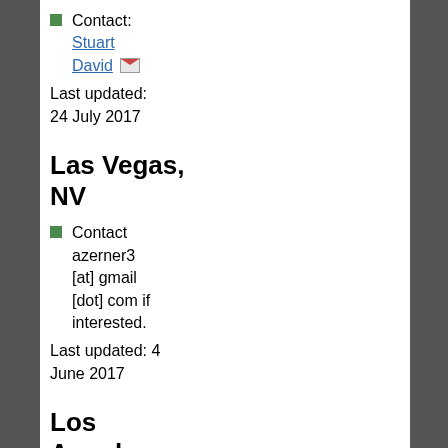Contact: Stuart David [email icon]
Last updated: 24 July 2017
Las Vegas, NV
Contact azerner3 [at] gmail [dot] com if interested.
Last updated: 4 June 2017
Los Angeles, CA
We meet up at 7 pm every